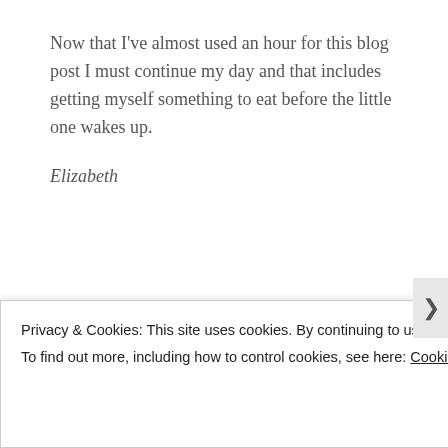Now that I've almost used an hour for this blog post I must continue my day and that includes getting myself something to eat before the little one wakes up.
Elizabeth
Share this:
Privacy & Cookies: This site uses cookies. By continuing to use this website, you agree to their use.
To find out more, including how to control cookies, see here: Cookie Policy
Close and accept